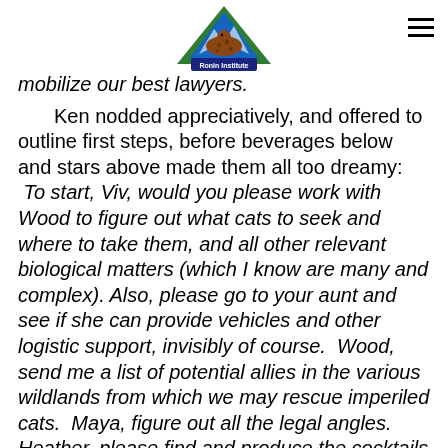[Figure (logo): Ronin Institute logo: triangular mountain/wildlife emblem with text 'Ronin Institute']
mobilize our best lawyers.

Ken nodded appreciatively, and offered to outline first steps, before beverages below and stars above made them all too dreamy: To start, Viv, would you please work with Wood to figure out what cats to seek and where to take them, and all other relevant biological matters (which I know are many and complex). Also, please go to your aunt and see if she can provide vehicles and other logistic support, invisibly of course.  Wood, send me a list of potential allies in the various wildlands from which we may rescue imperiled cats.  Maya, figure out all the legal angles. Heather, please find and produce the cocktails we'll need to safely drug the cats, and figure out all other safety concerns.  Gordy, I want you to work with Rosy to start getting out news about reported "Panther"